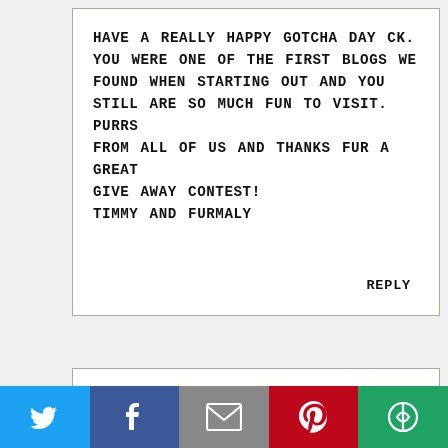HAVE A REALLY HAPPY GOTCHA DAY CK. YOU WERE ONE OF THE FIRST BLOGS WE FOUND WHEN STARTING OUT AND YOU STILL ARE SO MUCH FUN TO VISIT. PURRS FROM ALL OF US AND THANKS FUR A GREAT GIVE AWAY CONTEST!
TIMMY AND FURMALY
REPLY
ANONYMOUS
HAPPY GOTCHA DAY! IT SOUNDS LIKE YOU
Twitter | Facebook | Email | Pinterest | More